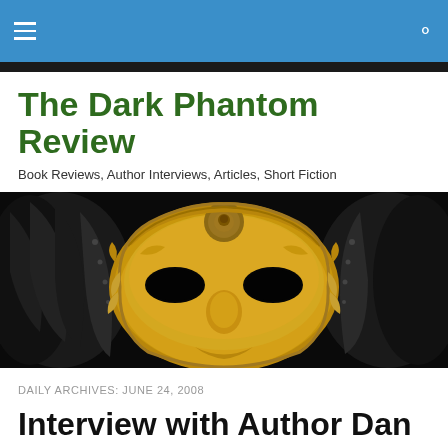The Dark Phantom Review – navigation bar
The Dark Phantom Review
Book Reviews, Author Interviews, Articles, Short Fiction
[Figure (photo): A golden Venetian masquerade mask with ornate gold details and black feathers on a dark background, used as the site banner image]
DAILY ARCHIVES: JUNE 24, 2008
Interview with Author Dan Skelton